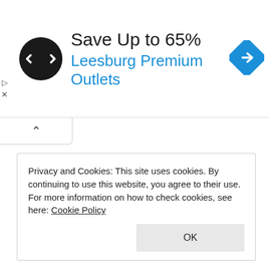[Figure (infographic): Advertisement banner: black circular logo with double arrow symbol, text 'Save Up to 65%' in dark, 'Leesburg Premium Outlets' in blue, and a blue navigation diamond icon on the right.]
Privacy and Cookies: This site uses cookies. By continuing to use this website, you agree to their use.
For more information on how to check cookies, see here: Cookie Policy
OK